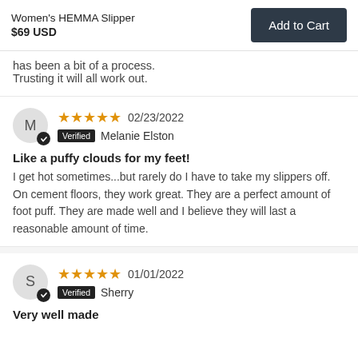Women's HEMMA Slipper
$69 USD
has been a bit of a process. Trusting it will all work out.
★★★★★ 02/23/2022
Verified Melanie Elston
Like a puffy clouds for my feet!
I get hot sometimes...but rarely do I have to take my slippers off. On cement floors, they work great. They are a perfect amount of foot puff. They are made well and I believe they will last a reasonable amount of time.
★★★★★ 01/01/2022
Verified Sherry
Very well made